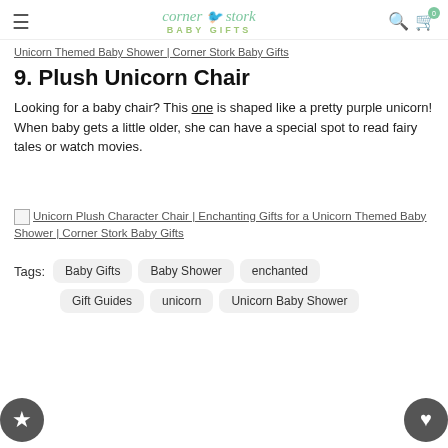corner stork BABY GIFTS
Unicorn Themed Baby Shower | Corner Stork Baby Gifts
9. Plush Unicorn Chair
Looking for a baby chair? This one is shaped like a pretty purple unicorn! When baby gets a little older, she can have a special spot to read fairy tales or watch movies.
[Figure (screenshot): Broken image link placeholder for Unicorn Plush Character Chair | Enchanting Gifts for a Unicorn Themed Baby Shower | Corner Stork Baby Gifts]
Tags: Baby Gifts  Baby Shower  enchanted  Gift Guides  unicorn  Unicorn Baby Shower